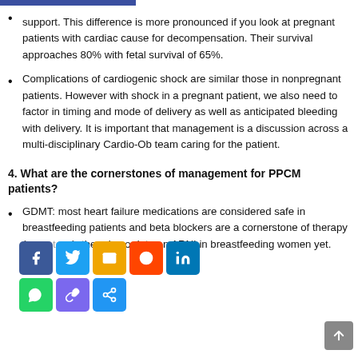support. This difference is more pronounced if you look at pregnant patients with cardiac cause for decompensation. Their survival approaches 80% with fetal survival of 65%.
Complications of cardiogenic shock are similar those in nonpregnant patients. However with shock in a pregnant patient, we also need to factor in timing and mode of delivery as well as anticipated bleeding with delivery. It is important that management is a discussion across a multi-disciplinary Cardio-Ob team caring for the patient.
4. What are the cornerstones of management for PPCM patients?
GDMT: most heart failure medications are considered safe in breastfeeding patients and beta blockers are a cornerstone of therapy (excl…). there is no data on ARNI in breastfeeding women yet.
[Figure (infographic): Social media sharing buttons overlay: Facebook (blue), Twitter (blue), Email (orange), Reddit (red-orange), LinkedIn (blue) in top row; WhatsApp (green), Copy (purple), Share (blue) in bottom row. A scroll-to-top button appears at bottom right.]